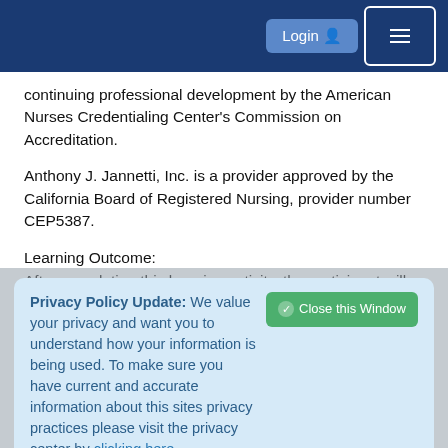Login  [menu]
continuing professional development by the American Nurses Credentialing Center's Commission on Accreditation.
Anthony J. Jannetti, Inc. is a provider approved by the California Board of Registered Nursing, provider number CEP5387.
Learning Outcome:
After completing this learning activity, the participant will be able to identify at least one way to use EHR end user data to guide system optimization.
Speaker(s):
Meg Furukawa, MN, RN, BC, CNS, Nursing Informaticist
Privacy Policy Update: We value your privacy and want you to understand how your information is being used. To make sure you have current and accurate information about this sites privacy practices please visit the privacy center by clicking here.